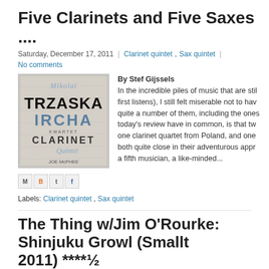Five Clarinets and Five Saxes ....
Saturday, December 17, 2011 | Clarinet quintet, Sax quintet | No comments
[Figure (illustration): Album cover for Mikolai Trzaska Ircha Clarinet Quintet featuring Joe McPhee, with stylized text on a textured grey background]
By Stef Gijssels
In the incredible piles of music that are still (first listens), I still felt miserable not to have quite a number of them, including the ones today's review have in common, is that two one clarinet quartet from Poland, and one both quite close in their adventurous appro a fifth musician, a like-minded...
Labels: Clarinet quintet , Sax quintet
The Thing w/Jim O'Rourke: Shinjuku Growl (Smallt 2011) ****½
Friday, December 16, 2011 | 2 comments